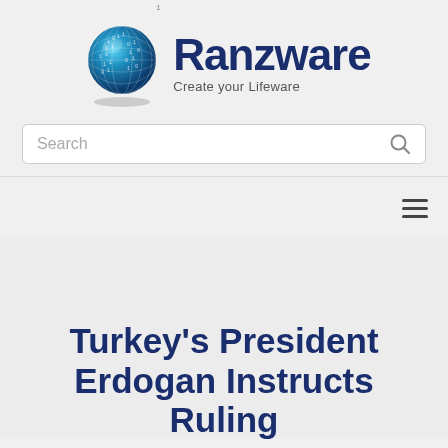[Figure (logo): Ranzware logo: blue digital globe with binary numbers and dark blue brand name 'Ranzware' with tagline 'Create your Lifeware']
Search
[Figure (other): Hamburger menu icon (three horizontal lines)]
Turkey's President Erdogan Instructs Ruling